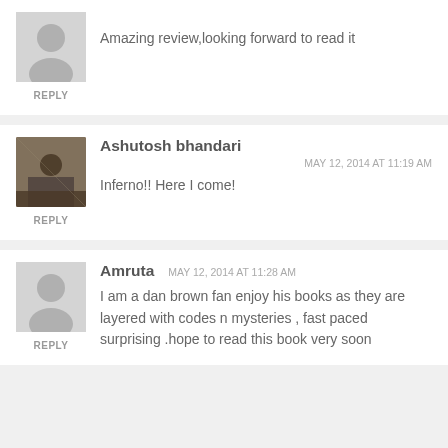Amazing review,looking forward to read it
REPLY
Ashutosh bhandari
MAY 12, 2014 AT 11:19 AM
Inferno!! Here I come!
REPLY
Amruta
MAY 12, 2014 AT 11:28 AM
I am a dan brown fan enjoy his books as they are layered with codes n mysteries , fast paced surprising .hope to read this book very soon
REPLY